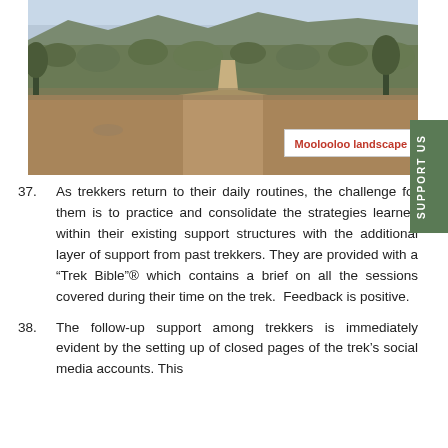[Figure (photo): Aerial/road-level view of a dirt road through arid Australian scrubland, Moolooloo landscape, with dry vegetation and hills in the background]
Moolooloo landscape
As trekkers return to their daily routines, the challenge for them is to practice and consolidate the strategies learned within their existing support structures with the additional layer of support from past trekkers. They are provided with a “Trek Bible”® which contains a brief on all the sessions covered during their time on the trek. Feedback is positive.
The follow-up support among trekkers is immediately evident by the setting up of closed pages of the trek’s social media accounts. This